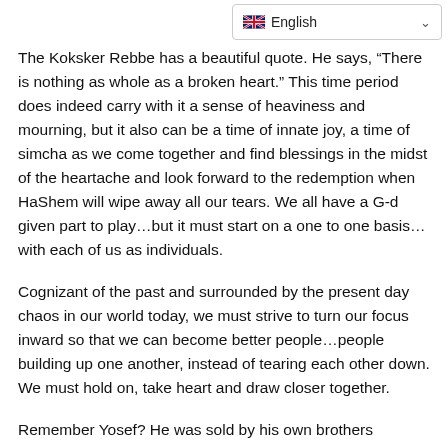English
The Koksker Rebbe has a beautiful quote. He says, “There is nothing as whole as a broken heart.” This time period does indeed carry with it a sense of heaviness and mourning, but it also can be a time of innate joy, a time of simcha as we come together and find blessings in the midst of the heartache and look forward to the redemption when HaShem will wipe away all our tears. We all have a G-d given part to play…but it must start on a one to one basis…with each of us as individuals.
Cognizant of the past and surrounded by the present day chaos in our world today, we must strive to turn our focus inward so that we can become better people…people building up one another, instead of tearing each other down. We must hold on, take heart and draw closer together.
Remember Yosef? He was sold by his own brothers (traditionally the date was Tisha b’Av); but what did he do in response to their baseless hatred? He turned it into baseless love… he embraced them and forgave them completely; and